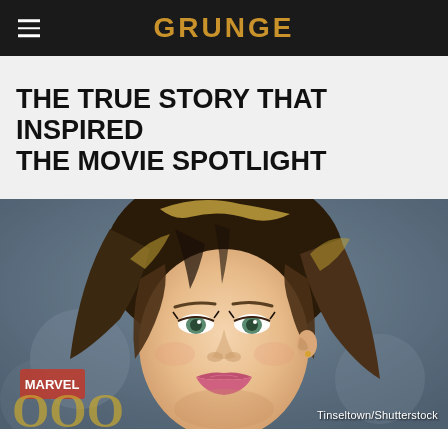GRUNGE
THE TRUE STORY THAT INSPIRED THE MOVIE SPOTLIGHT
[Figure (photo): Close-up portrait of a blonde woman with wavy hair and green eyes, wearing makeup, photographed at what appears to be a Marvel event. Photo credit: Tinseltown/Shutterstock]
Tinseltown/Shutterstock